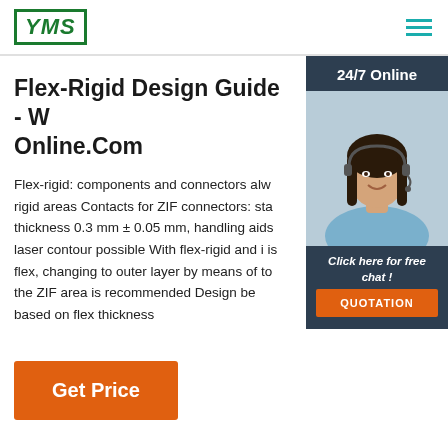YMS logo and navigation menu
Flex-Rigid Design Guide - We Online.Com
Flex-rigid: components and connectors alw rigid areas Contacts for ZIF connectors: sta thickness 0.3 mm ± 0.05 mm, handling aids laser contour possible With flex-rigid and i is flex, changing to outer layer by means of to the ZIF area is recommended Design be based on flex thickness
[Figure (photo): Customer service representative woman wearing headset, smiling, with 24/7 Online label and Click here for free chat and QUOTATION button overlay]
Get Price